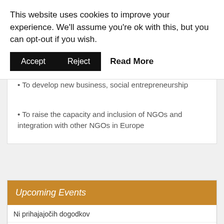This website uses cookies to improve your experience. We'll assume you're ok with this, but you can opt-out if you wish.
Accept   Reject   Read More
• To develop new business, social entrepreneurship
• To raise the capacity and inclusion of NGOs and integration with other NGOs in Europe
Upcoming Events
Ni prihajajočih dogodkov
Prikaži koledar →